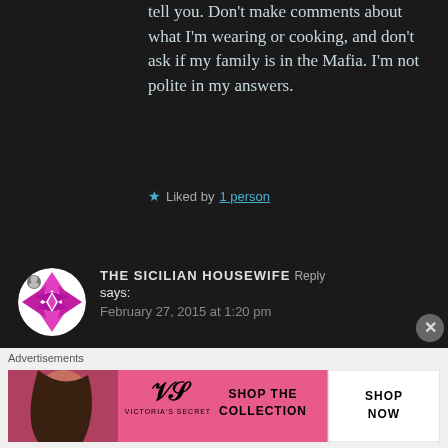tell you. Don't make comments about what I'm wearing or cooking, and don't ask if my family is in the Mafia. I'm not polite in my answers.
★ Liked by 1 person
[Figure (logo): Circular avatar with pink/magenta geometric star/diamond pattern on white background with small user icon overlay]
THE SICILIAN HOUSEWIFE says: February 27, 2015 at 1:20 pm
Ha ha! What other things would you add to the list?
Advertisements
[Figure (screenshot): Victoria's Secret advertisement banner: SHOP THE COLLECTION — SHOP NOW]